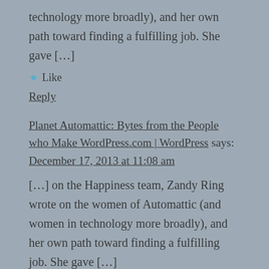technology more broadly), and her own path toward finding a fulfilling job. She gave […]
★ Like
Reply
Planet Automattic: Bytes from the People who Make WordPress.com | WordPress says:
December 17, 2013 at 11:08 am
[…] on the Happiness team, Zandy Ring wrote on the women of Automattic (and women in technology more broadly), and her own path toward finding a fulfilling job. She gave […]
★ Like
Reply